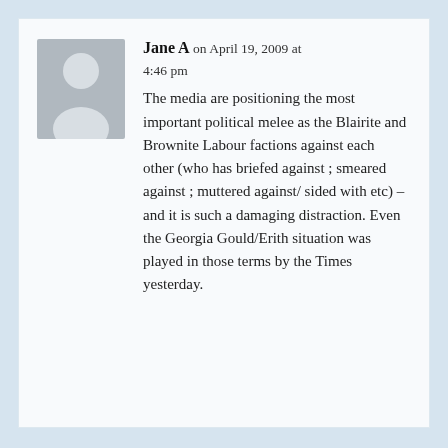[Figure (illustration): Generic grey avatar/silhouette image of a person, used as a placeholder profile picture.]
Jane A on April 19, 2009 at 4:46 pm
The media are positioning the most important political melee as the Blairite and Brownite Labour factions against each other (who has briefed against ; smeared against ; muttered against/ sided with etc) – and it is such a damaging distraction. Even the Georgia Gould/Erith situation was played in those terms by the Times yesterday.